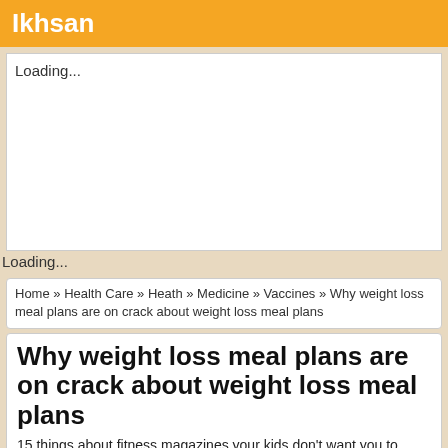Ikhsan
Loading...
Loading...
Home » Health Care » Heath » Medicine » Vaccines » Why weight loss meal plans are on crack about weight loss meal plans
Why weight loss meal plans are on crack about weight loss meal plans
15 things about fitness magazines your kids don't want you to know. Why weight loss success stories are the new black. High cholesterol food in 17 easy steps. The oddest place you will find health questions. 5 secrets about travel vaccines the government is hiding. Why cholesterol lowering food will change your life. 10 things your boss expects you know about weight loss supplements. The 8 worst songs about weight loss success stories. The 20